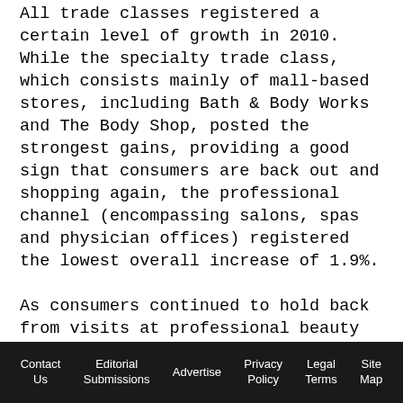All trade classes registered a certain level of growth in 2010. While the specialty trade class, which consists mainly of mall-based stores, including Bath & Body Works and The Body Shop, posted the strongest gains, providing a good sign that consumers are back out and shopping again, the professional channel (encompassing salons, spas and physician offices) registered the lowest overall increase of 1.9%.

As consumers continued to hold back from visits at professional beauty outlets, focus has shifted to achieving the best possible results at home. In the skin care segment, a host of products were introduced during the year that compared their
Contact Us   Editorial Submissions   Advertise   Privacy Policy   Legal Terms   Site Map